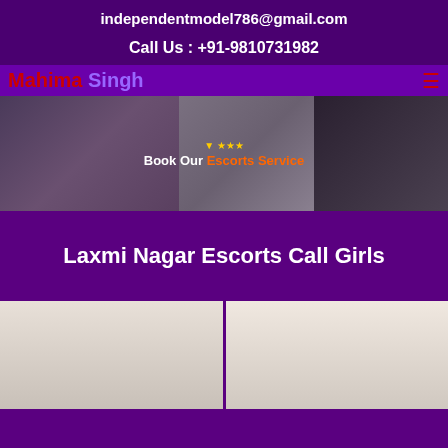independentmodel786@gmail.com
Call Us : +91-9810731982
Mahima Singh
[Figure (photo): Banner with three female figures and text 'Book Our Escorts Service' with star icons]
Laxmi Nagar Escorts Call Girls
[Figure (photo): Two photos of young women side by side at bottom of page]